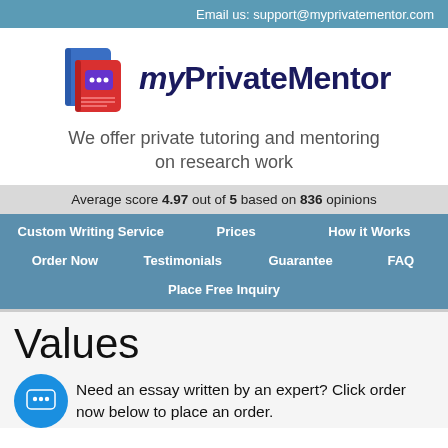Email us:  support@myprivatementor.com
[Figure (logo): myPrivateMentor logo with stylized books icon and brand name]
We offer private tutoring and mentoring on research work
Average score 4.97 out of 5 based on 836 opinions
Custom Writing Service
Prices
How it Works
Order Now
Testimonials
Guarantee
FAQ
Place Free Inquiry
Values
Need an essay written by an expert? Click order now below to place an order.